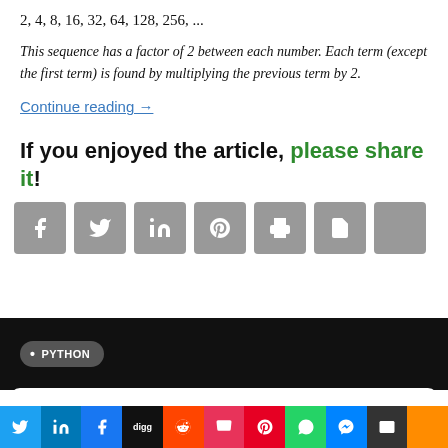2, 4, 8, 16, 32, 64, 128, 256, ...
This sequence has a factor of 2 between each number. Each term (except the first term) is found by multiplying the previous term by 2.
Continue reading →
If you enjoyed the article, please share it!
[Figure (infographic): Social share buttons: Facebook, Twitter, LinkedIn, Pinterest, Print, PDF, More]
[Figure (infographic): Black bar with PYTHON tag pill]
Twitter, LinkedIn, Facebook, Digg, Reddit, Pocket, Pinterest, WhatsApp, Messenger, Email, More — social share bottom bar